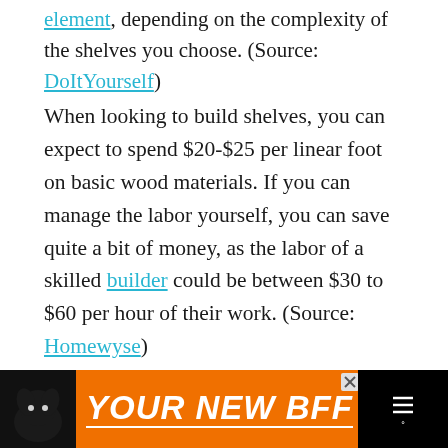element, depending on the complexity of the shelves you choose. (Source: DoItYourself)
When looking to build shelves, you can expect to spend $20-$25 per linear foot on basic wood materials. If you can manage the labor yourself, you can save quite a bit of money, as the labor of a skilled builder could be between $30 to $60 per hour of their work. (Source: Homewyse)
[Figure (other): Advertisement banner at bottom: black background with orange ad area showing a dog silhouette and text 'YOUR NEW BFF' in white bold italic letters]